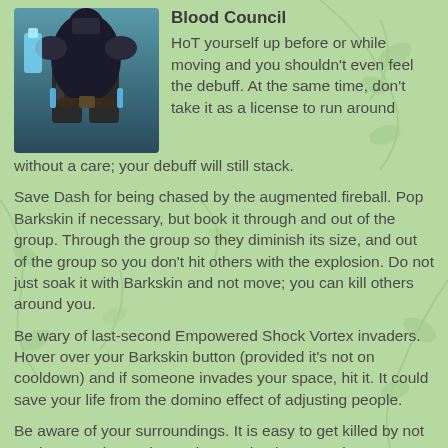[Figure (illustration): Video game character in dark armor with blue glowing accents, lower body/legs visible, standing pose]
Blood Council
HoT yourself up before or while moving and you shouldn't even feel the debuff. At the same time, don't take it as a license to run around without a care; your debuff will still stack.
Save Dash for being chased by the augmented fireball. Pop Barkskin if necessary, but book it through and out of the group. Through the group so they diminish its size, and out of the group so you don't hit others with the explosion. Do not just soak it with Barkskin and not move; you can kill others around you.
Be wary of last-second Empowered Shock Vortex invaders. Hover over your Barkskin button (provided it's not on cooldown) and if someone invades your space, hit it. It could save your life from the domino effect of adjusting people.
Be aware of your surroundings. It is easy to get killed by not paying attention to the stationary shock vortex about to spawn (that you're about to run into). Do not be afraid to shift